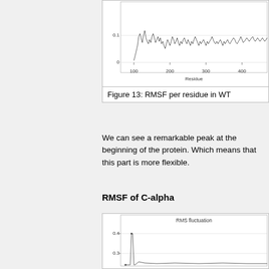[Figure (continuous-plot): RMSF per residue in WT - line chart showing RMS fluctuation vs Residue number (100-450+). Y-axis from 0 to ~0.15. Jagged line with a peak near residue 100.]
Figure 13: RMSF per residue in WT
We can see a remarkable peak at the beginning of the protein. Which means that this part is more flexible.
RMSF of C-alpha
[Figure (continuous-plot): RMS fluctuation chart - partial view showing y-axis values 0.3, 0.4, with a sharp peak near the left side rising to ~0.4, then dropping low.]